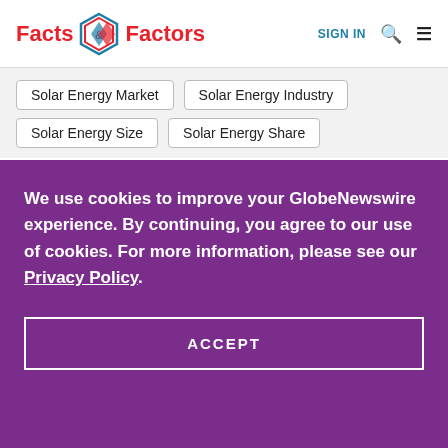Facts & Factors — SIGN IN
Solar Energy Market
Solar Energy Industry
Solar Energy Size
Solar Energy Share
We use cookies to improve your GlobeNewswire experience. By continuing, you agree to our use of cookies. For more information, please see our Privacy Policy.
ACCEPT